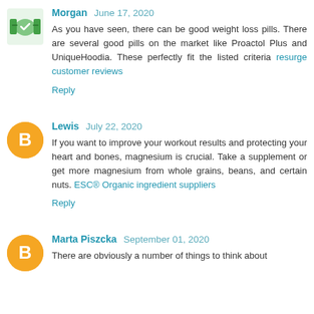[Figure (illustration): Handshake icon avatar for Morgan commenter]
Morgan June 17, 2020
As you have seen, there can be good weight loss pills. There are several good pills on the market like Proactol Plus and UniqueHoodia. These perfectly fit the listed criteria resurge customer reviews
Reply
[Figure (illustration): Blogger B icon orange circle avatar for Lewis commenter]
Lewis July 22, 2020
If you want to improve your workout results and protecting your heart and bones, magnesium is crucial. Take a supplement or get more magnesium from whole grains, beans, and certain nuts. ESC® Organic ingredient suppliers
Reply
[Figure (illustration): Blogger B icon orange circle avatar for Marta Piszcka commenter]
Marta Piszcka September 01, 2020
There are obviously a number of things to think about